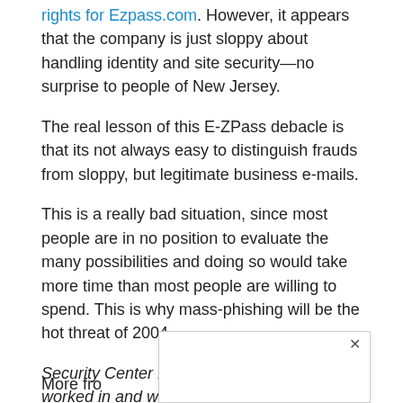rights for Ezpass.com. However, it appears that the company is just sloppy about handling identity and site security—no surprise to people of New Jersey.
The real lesson of this E-ZPass debacle is that its not always easy to distinguish frauds from sloppy, but legitimate business e-mails.
This is a really bad situation, since most people are in no position to evaluate the many possibilities and doing so would take more time than most people are willing to spend. This is why mass-phishing will be the hot threat of 2004.
Security Center Editor Larry Seltzer has worked in and written about the computer industry since 1983.
More fro